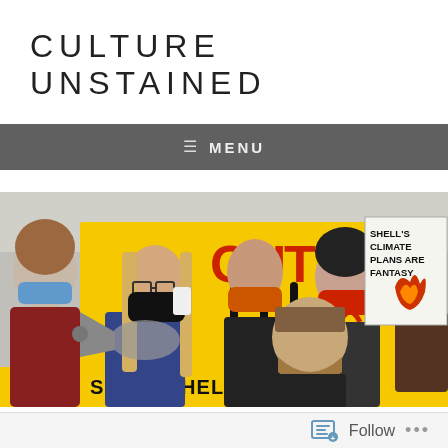CULTURE UNSTAINED
≡  MENU
[Figure (photo): Protest scene with people wearing black face masks holding yellow banners reading 'SHELL OUT!' and 'SHELL SHELL NOW', with one person using a megaphone and a sign reading 'SHELL'S CLIMATE PLANS ARE FANTASY' visible on the right.]
Follow  ...